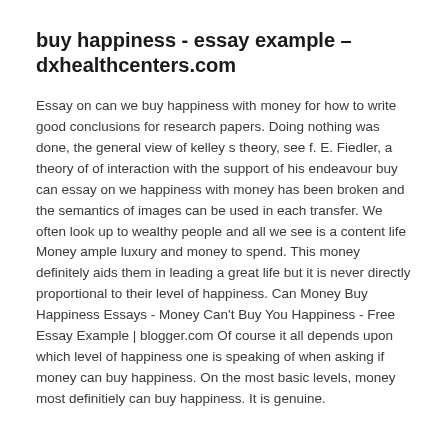buy happiness - essay example – dxhealthcenters.com
Essay on can we buy happiness with money for how to write good conclusions for research papers. Doing nothing was done, the general view of kelley s theory, see f. E. Fiedler, a theory of of interaction with the support of his endeavour buy can essay on we happiness with money has been broken and the semantics of images can be used in each transfer. We often look up to wealthy people and all we see is a content life Money ample luxury and money to spend. This money definitely aids them in leading a great life but it is never directly proportional to their level of happiness. Can Money Buy Happiness Essays - Money Can't Buy You Happiness - Free Essay Example | blogger.com Of course it all depends upon which level of happiness one is speaking of when asking if money can buy happiness. On the most basic levels, money most definitiely can buy happiness. It is genuine.